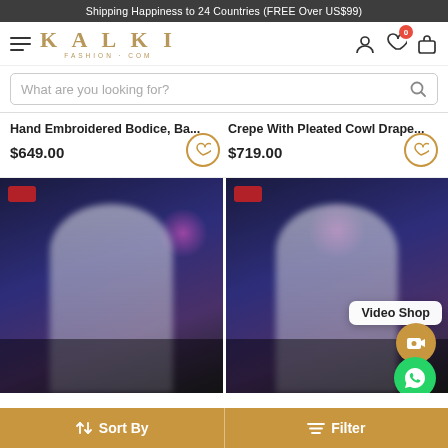Shipping Happiness to 24 Countries (FREE Over US$99)
[Figure (logo): Kalki Fashion.com logo with hamburger menu]
What are you looking for?
Hand Embroidered Bodice, Ba...
$649.00
Crepe With Pleated Cowl Drape...
$719.00
[Figure (photo): Blurred fashion model in grey gown on runway, left product]
[Figure (photo): Blurred fashion model in grey gown on runway, right product with Video Shop button]
Sort By   Filter